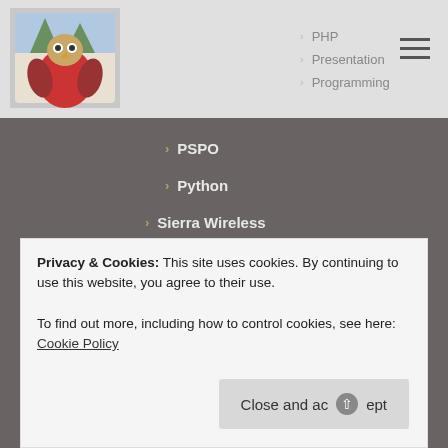[Figure (logo): Owl mascot logo in red coat]
PHP
Presentation
Programming
PSPO
Python
Sierra Wireless
Skype
SQL
Stikked
Student Branch
Student Clubs
Symfony
UAV
Uncategorized
Privacy & Cookies: This site uses cookies. By continuing to use this website, you agree to their use.
To find out more, including how to control cookies, see here: Cookie Policy
Close and accept